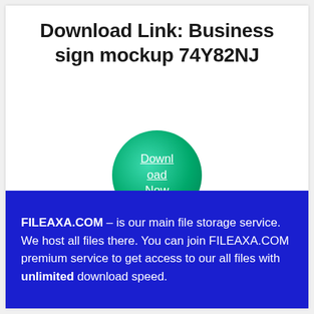Download Link: Business sign mockup 74Y82NJ
[Figure (other): Green circular download button with white underlined text reading 'Download Now']
FILEAXA.COM – is our main file storage service. We host all files there. You can join FILEAXA.COM premium service to get access to our all files with unlimited download speed.